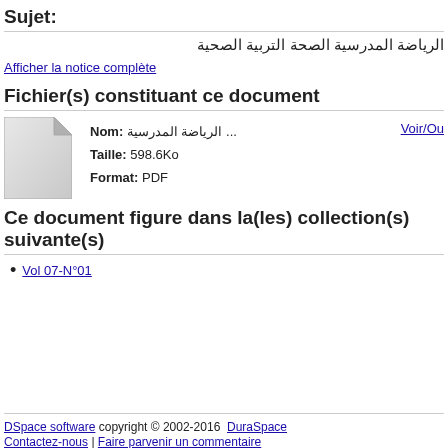Sujet:
الرياضة المدرسية الصحة التربية الصحية
Afficher la notice complète
Fichier(s) constituant ce document
[Figure (illustration): Generic file/document icon (grey paper with folded corner)]
Nom: الرياضة المدرسية ...
Taille: 598.6Ko
Format: PDF
Voir/Ou
Ce document figure dans la(les) collection(s) suivante(s)
Vol 07-N°01
DSpace software copyright © 2002-2016  DuraSpace
Contactez-nous | Faire parvenir un commentaire